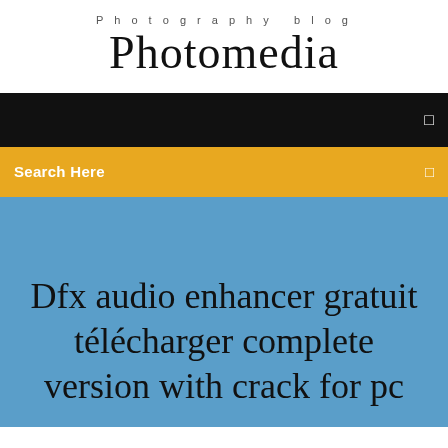Photography blog
Photomedia
☰
Search Here ☰
Dfx audio enhancer gratuit télécharger complete version with crack for pc